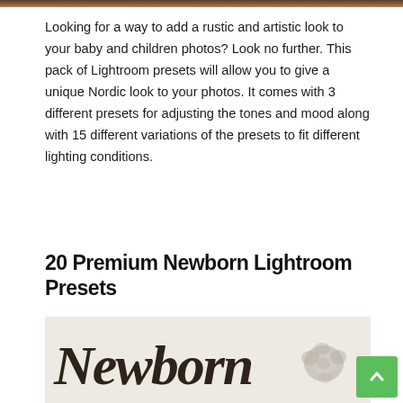[Figure (photo): Top portion of a photo showing a baby/children rustic photo, cropped at top of page]
Looking for a way to add a rustic and artistic look to your baby and children photos? Look no further. This pack of Lightroom presets will allow you to give a unique Nordic look to your photos. It comes with 3 different presets for adjusting the tones and mood along with 15 different variations of the presets to fit different lighting conditions.
20 Premium Newborn Lightroom Presets
[Figure (photo): Bottom image showing the word 'Newborn' in large hand-lettered script font against a light background, with a decorative flower element on the right side]